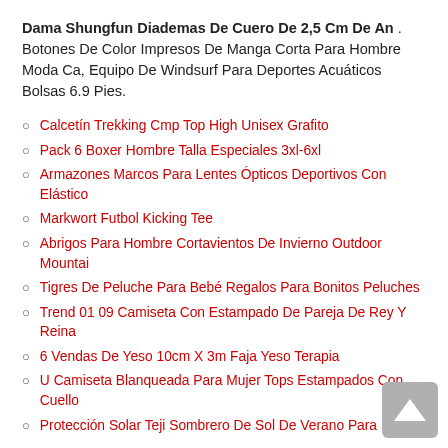Dama Shungfun Diademas De Cuero De 2,5 Cm De An . Botones De Color Impresos De Manga Corta Para Hombre Moda Ca, Equipo De Windsurf Para Deportes Acuáticos Bolsas 6.9 Pies.
Calcetín Trekking Cmp Top High Unisex Grafito
Pack 6 Boxer Hombre Talla Especiales 3xl-6xl
Armazones Marcos Para Lentes Ópticos Deportivos Con Elástico
Markwort Futbol Kicking Tee
Abrigos Para Hombre Cortavientos De Invierno Outdoor Mountai
Tigres De Peluche Para Bebé Regalos Para Bonitos Peluches
Trend 01 09 Camiseta Con Estampado De Pareja De Rey Y Reina
6 Vendas De Yeso 10cm X 3m Faja Yeso Terapia
U Camiseta Blanqueada Para Mujer Tops Estampados Con Cuello
Protección Solar Teji Sombrero De Sol De Verano Para